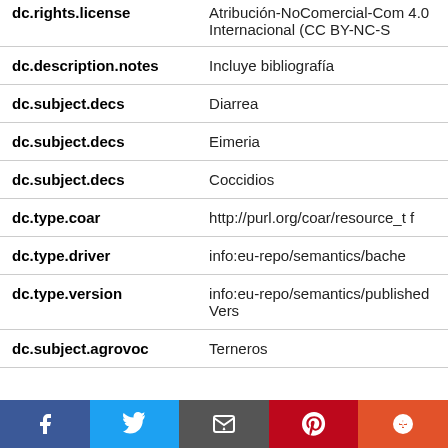| Field | Value |
| --- | --- |
| dc.rights.license | Atribución-NoComercial-CompartirIgual 4.0 Internacional (CC BY-NC-S |
| dc.description.notes | Incluye bibliografía |
| dc.subject.decs | Diarrea |
| dc.subject.decs | Eimeria |
| dc.subject.decs | Coccidios |
| dc.type.coar | http://purl.org/coar/resource_t f |
| dc.type.driver | info:eu-repo/semantics/bache |
| dc.type.version | info:eu-repo/semantics/publishedVers |
| dc.subject.agrovoc | Terneros |